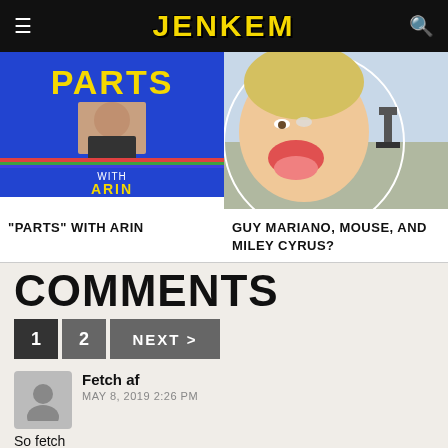JENKEM
[Figure (screenshot): Article thumbnail: Parts with Arin – blue background with yellow text PARTS, photo of person, WITH ARIN text in yellow]
"PARTS" WITH ARIN
[Figure (photo): Article thumbnail: Guy Mariano Mouse and Miley Cyrus – photo of Miley Cyrus with tongue out and skateboarder in background]
GUY MARIANO, MOUSE, AND MILEY CYRUS?
COMMENTS
1  2  NEXT >
Fetch af
MAY 8, 2019 2:26 PM
So fetch
Reply